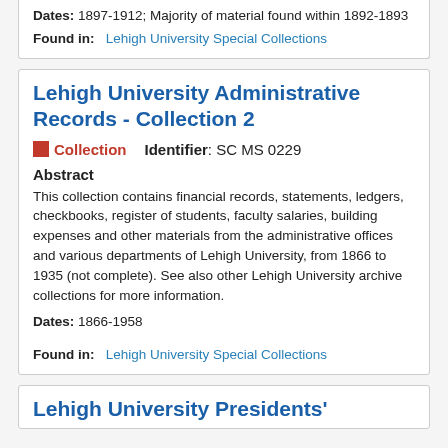Dates: 1897-1912; Majority of material found within 1892-1893
Found in: Lehigh University Special Collections
Lehigh University Administrative Records - Collection 2
Collection  Identifier: SC MS 0229
Abstract
This collection contains financial records, statements, ledgers, checkbooks, register of students, faculty salaries, building expenses and other materials from the administrative offices and various departments of Lehigh University, from 1866 to 1935 (not complete). See also other Lehigh University archive collections for more information.
Dates: 1866-1958
Found in: Lehigh University Special Collections
Lehigh University Presidents'